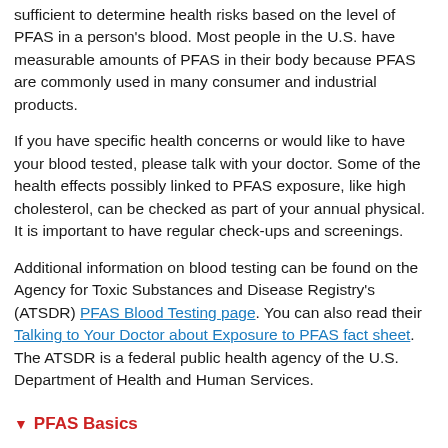sufficient to determine health risks based on the level of PFAS in a person's blood. Most people in the U.S. have measurable amounts of PFAS in their body because PFAS are commonly used in many consumer and industrial products.
If you have specific health concerns or would like to have your blood tested, please talk with your doctor. Some of the health effects possibly linked to PFAS exposure, like high cholesterol, can be checked as part of your annual physical. It is important to have regular check-ups and screenings.
Additional information on blood testing can be found on the Agency for Toxic Substances and Disease Registry's (ATSDR) PFAS Blood Testing page. You can also read their Talking to Your Doctor about Exposure to PFAS fact sheet. The ATSDR is a federal public health agency of the U.S. Department of Health and Human Services.
PFAS Basics